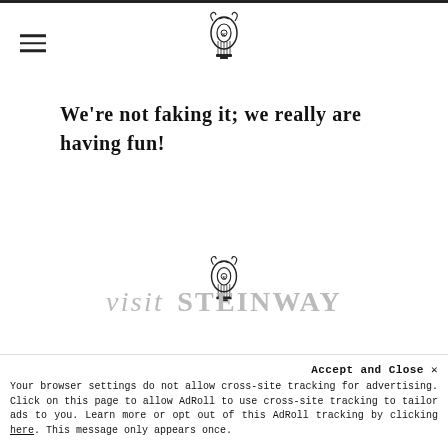[Steinway logo and hamburger menu]
We're not faking it; we really are having fun!
[Figure (logo): Steinway lyre logo centered on page]
visit STEINWAY
Accept and Close ✕
Your browser settings do not allow cross-site tracking for advertising. Click on this page to allow AdRoll to use cross-site tracking to tailor ads to you. Learn more or opt out of this AdRoll tracking by clicking here. This message only appears once.
and a retail location to see a STEINWAY